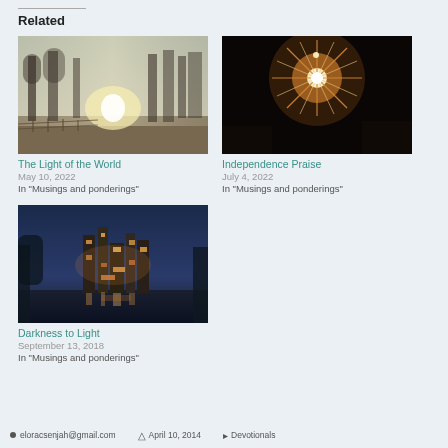Related
[Figure (photo): Misty morning landscape with trees and bright light in background, fenced area visible]
The Light of the World
May 10, 2022
In "Musings and ponderings"
[Figure (photo): Fireworks exploding in night sky with bright white and orange sparks radiating outward]
Independence Praise
July 4, 2022
In "Musings and ponderings"
[Figure (photo): Industrial facility lit up at night reflected in water, blue twilight sky]
Darkness to Light
September 13, 2018
In "Musings and ponderings"
eloracsenjah@gmail.com   April 10, 2014   Devotionals